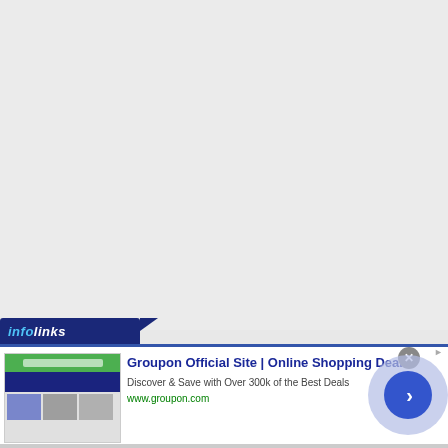[Figure (screenshot): Large grey empty area taking up top portion of the page, representing a blank webpage content area]
[Figure (screenshot): Infolinks advertisement banner at the bottom of the page showing a Groupon ad. Contains the Infolinks logo/tab in dark navy blue, a Groupon ad with thumbnail images on the left, headline 'Groupon Official Site | Online Shopping Deals', description 'Discover & Save with Over 300k of the Best Deals', URL 'www.groupon.com', a grey X close button, and a circular arrow navigation button on the right side with light blue/purple background.]